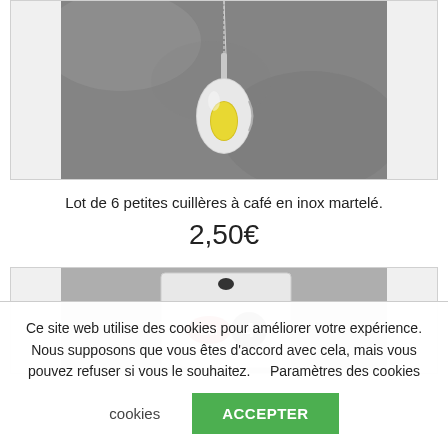[Figure (photo): A silver spoon with yellow accent hanging by a chain against a grey stone background]
Lot de 6 petites cuillères à café en inox martelé.
2,50€
[Figure (photo): A product package with a number 4 label on a grey background]
Ce site web utilise des cookies pour améliorer votre expérience. Nous supposons que vous êtes d'accord avec cela, mais vous pouvez refuser si vous le souhaitez.    Paramètres des cookies
ACCEPTER